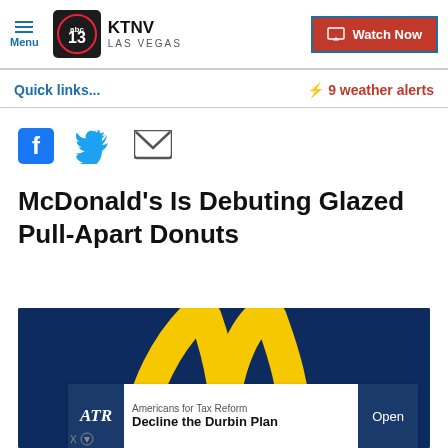Menu | KTNV LAS VEGAS | Watch Now
Quick links...
⚡ 9 weather alerts
[Figure (other): Social share icons: Facebook, Twitter, Email]
McDonald's Is Debuting Glazed Pull-Apart Donuts
[Figure (photo): McDonald's golden arches logo on dark blue background with an advertisement overlay for Americans for Tax Reform: Decline the Durbin Plan]